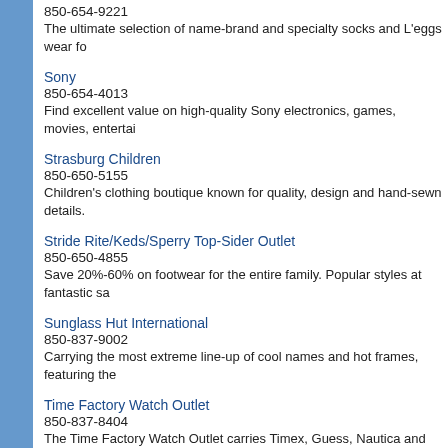850-654-9221
The ultimate selection of name-brand and specialty socks and L'eggs wear fo
Sony
850-654-4013
Find excellent value on high-quality Sony electronics, games, movies, entertai
Strasburg Children
850-650-5155
Children's clothing boutique known for quality, design and hand-sewn details.
Stride Rite/Keds/Sperry Top-Sider Outlet
850-650-4855
Save 20%-60% on footwear for the entire family. Popular styles at fantastic sa
Sunglass Hut International
850-837-9002
Carrying the most extreme line-up of cool names and hot frames, featuring the
Time Factory Watch Outlet
850-837-8404
The Time Factory Watch Outlet carries Timex, Guess, Nautica and Timberlando and batteries while you shop!
Tommy Hilfiger
850-650-2990